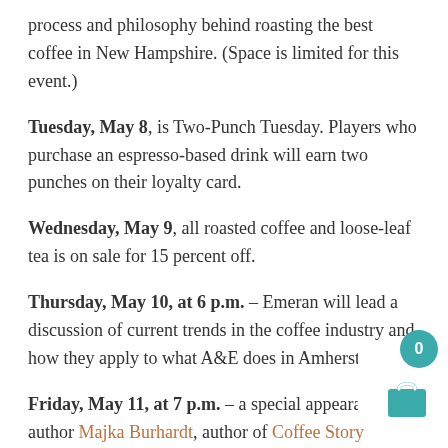process and philosophy behind roasting the best coffee in New Hampshire. (Space is limited for this event.)
Tuesday, May 8, is Two-Punch Tuesday. Players who purchase an espresso-based drink will earn two punches on their loyalty card.
Wednesday, May 9, all roasted coffee and loose-leaf tea is on sale for 15 percent off.
Thursday, May 10, at 6 p.m. – Emeran will lead a discussion of current trends in the coffee industry and how they apply to what A&E does in Amherst.
Friday, May 11, at 7 p.m. – a special appearance by author Majka Burhardt, author of Coffee Story Ethiopia: A Tale From The Country Where Coffee Began. Burhardt will lead a discussion based on her